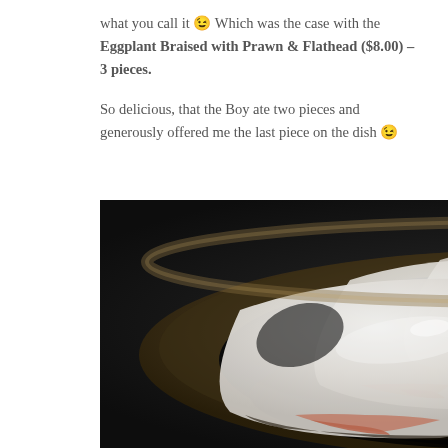what you call it 😊 Which was the case with the Eggplant Braised with Prawn & Flathead ($8.00) – 3 pieces.

So delicious, that the Boy ate two pieces and generously offered me the last piece on the dish 😊
[Figure (photo): A dark bowl (bamboo steamer) containing three pieces of braised eggplant with prawn and flathead, appearing translucent and glossy with visible prawn filling, sitting in dark sauce. Watermark reads 'The Chronicles of Ms I-Hua' and 'msihua.com'.]